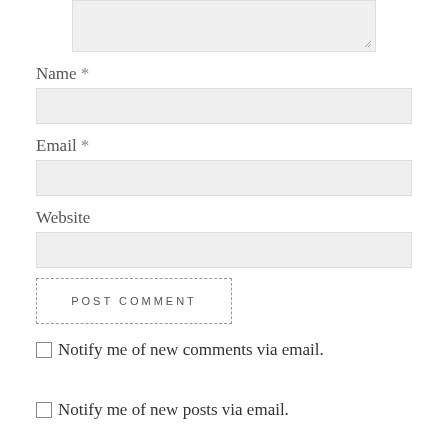[Figure (screenshot): Top portion of a textarea input box (comment form field), partially visible at top of page with resize handle in bottom-right corner]
Name *
[Figure (screenshot): Text input field for Name]
Email *
[Figure (screenshot): Text input field for Email]
Website
[Figure (screenshot): Text input field for Website]
[Figure (screenshot): POST COMMENT button with dotted border]
Notify me of new comments via email.
Notify me of new posts via email.